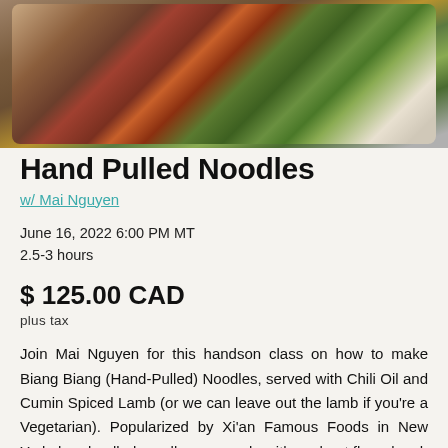[Figure (photo): Photo of a bowl of hand-pulled noodles with chili oil, cumin spiced lamb, garnished with herbs and green onions]
Hand Pulled Noodles
w/ Mai Nguyen
June 16, 2022 6:00 PM MT
2.5-3 hours
$ 125.00 CAD
plus tax
Join Mai Nguyen for this handson class on how to make Biang Biang (Hand-Pulled) Noodles, served with Chili Oil and Cumin Spiced Lamb (or we can leave out the lamb if you're a Vegetarian). Popularized by Xi'an Famous Foods in New York, hand-pulled noodles are made with a wheat flour dough that is cut into strips then pulled into long